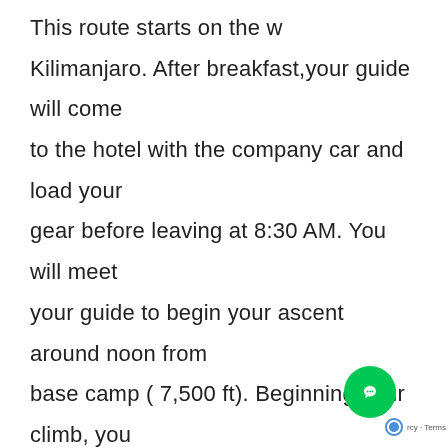This route starts on the w... Kilimanjaro. After breakfast,your guide will come to the hotel with the company car and load your gear before leaving at 8:30 AM. You will meet your guide to begin your ascent around noon from base camp ( 7,500 ft). Beginning your climb, you may hear and see colobus monkeys , blue monkeys, Bush hyrax, and birds like Turaco, silvery-cheeked hornbill, and a lot of flycatchers. At the forest camp ranger hut (9,000 ft), you will locate your tent. After dinner your guide w... the plan for your hike beginning the next da...